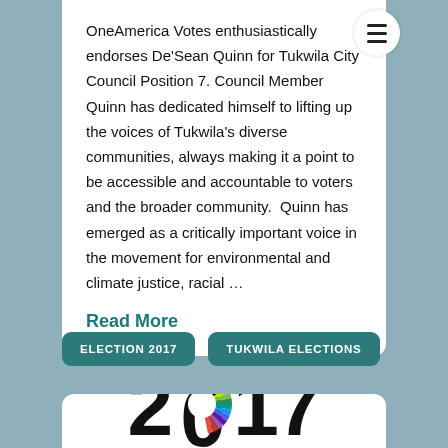OneAmerica Votes enthusiastically endorses De'Sean Quinn for Tukwila City Council Position 7. Council Member Quinn has dedicated himself to lifting up the voices of Tukwila's diverse communities, always making it a point to be accessible and accountable to voters and the broader community.  Quinn has emerged as a critically important voice in the movement for environmental and climate justice, racial ...
Read More
ELECTION 2017
TUKWILA ELECTIONS
[Figure (illustration): Large bold text '2017' with a colorful rainbow wheel replacing the zero, using many colored segments (red, orange, yellow, green, blue, purple, etc.)]